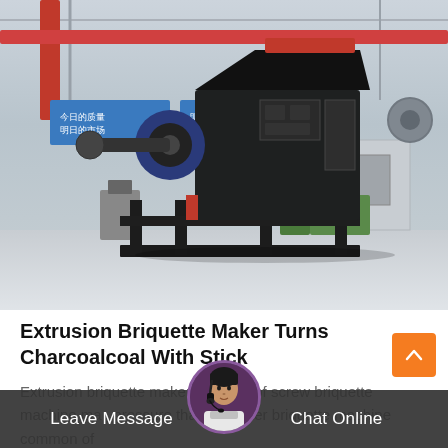[Figure (photo): Industrial extrusion briquette maker machine photographed in a factory/warehouse setting. Large black metal machine with hopper on top and motor on the side, sitting on a steel frame. Chinese text visible on banners in background.]
Extrusion Briquette Maker Turns Charcoalcoal With Stick
Extrusion briquette maker is a kind of screw briquette machine make pressure than the roller briquette machine common of
Leave Message  Chat Online